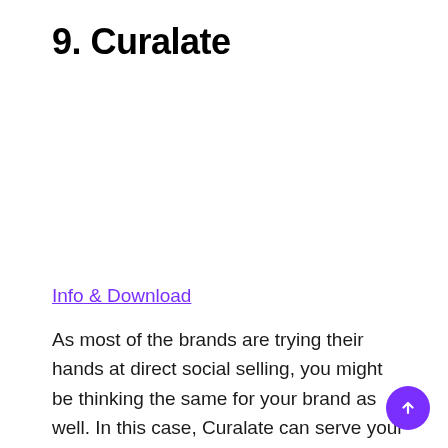9. Curalate
Info & Download
As most of the brands are trying their hands at direct social selling, you might be thinking the same for your brand as well. In this case, Curalate can serve your purpose through Instagram in the best